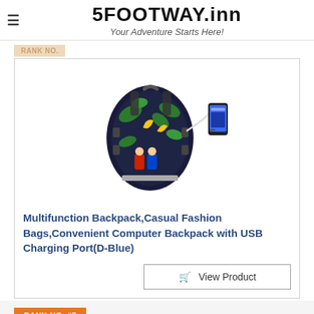5FOOTWAY.inn — Your Adventure Starts Here!
[Figure (photo): Multifunction backpack with colorful gaming-themed print and USB charging cable connected to a smartphone, shown on white background.]
Multifunction Backpack,Casual Fashion Bags,Convenient Computer Backpack with USB Charging Port(D-Blue)
View Product
RANK NO. #7